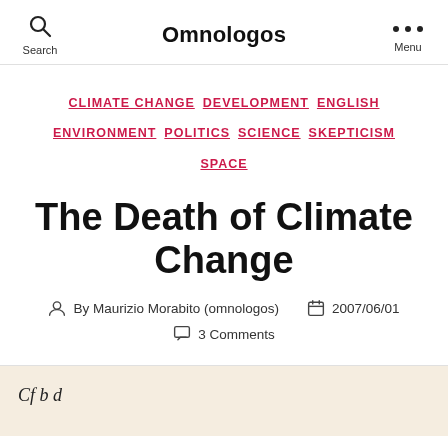Omnologos
CLIMATE CHANGE  DEVELOPMENT  ENGLISH  ENVIRONMENT  POLITICS  SCIENCE  SKEPTICISM  SPACE
The Death of Climate Change
By Maurizio Morabito (omnologos)  2007/06/01  3 Comments
Cf b d...